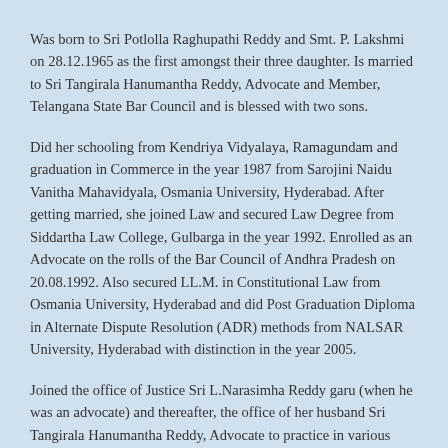Was born to Sri Potlolla Raghupathi Reddy and Smt. P. Lakshmi on 28.12.1965 as the first amongst their three daughter. Is married to Sri Tangirala Hanumantha Reddy, Advocate and Member, Telangana State Bar Council and is blessed with two sons.
Did her schooling from Kendriya Vidyalaya, Ramagundam and graduation in Commerce in the year 1987 from Sarojini Naidu Vanitha Mahavidyala, Osmania University, Hyderabad. After getting married, she joined Law and secured Law Degree from Siddartha Law College, Gulbarga in the year 1992. Enrolled as an Advocate on the rolls of the Bar Council of Andhra Pradesh on 20.08.1992. Also secured LL.M. in Constitutional Law from Osmania University, Hyderabad and did Post Graduation Diploma in Alternate Dispute Resolution (ADR) methods from NALSAR University, Hyderabad with distinction in the year 2005.
Joined the office of Justice Sri L.Narasimha Reddy garu (when he was an advocate) and thereafter, the office of her husband Sri Tangirala Hanumantha Reddy, Advocate to practice in various branches of law with